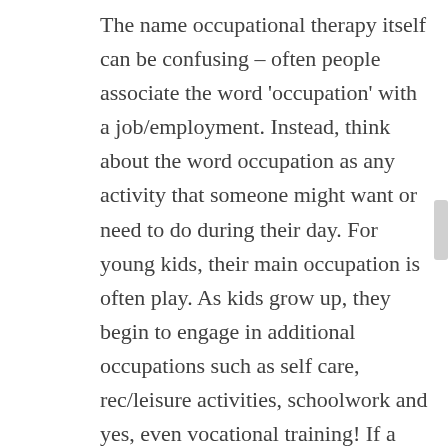The name occupational therapy itself can be confusing – often people associate the word 'occupation' with a job/employment. Instead, think about the word occupation as any activity that someone might want or need to do during their day. For young kids, their main occupation is often play.  As kids grow up, they begin to engage in additional occupations such as self care, rec/leisure activities, schoolwork and yes, even vocational training!  If a student is having difficulty participating in any of their daily occupations, we can help.
How exactly do we do that?  OTs are all about independence!  We should really be called the